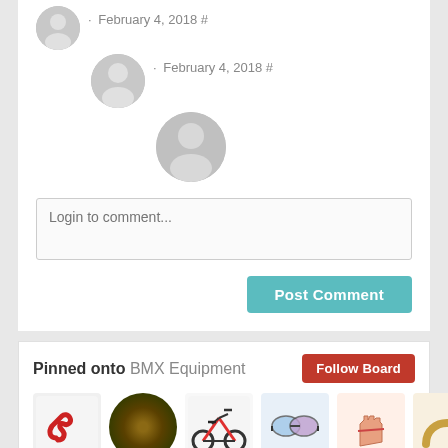· February 4, 2018 #
· February 4, 2018 #
Login to comment...
Post Comment
Pinned onto BMX Equipment
Follow Board
[Figure (photo): Six small product images for BMX Equipment board: red bicycle lock, forest path in circle, BMX bike, sports goggles, fingerless gloves, wooden item]
Categories
Top